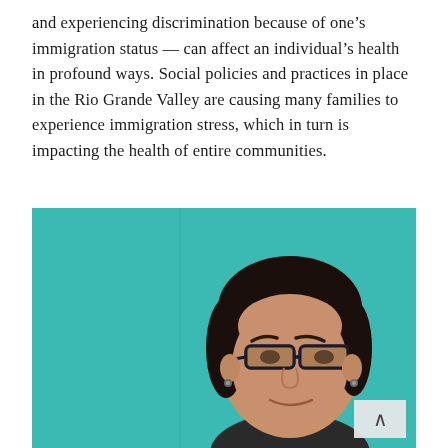and experiencing discrimination because of one's immigration status — can affect an individual's health in profound ways. Social policies and practices in place in the Rio Grande Valley are causing many families to experience immigration stress, which in turn is impacting the health of entire communities.
[Figure (photo): Portrait photograph of a middle-aged woman with dark hair pulled back, wearing glasses with dark frames, smiling slightly, photographed against a teal/turquoise painted wall background.]